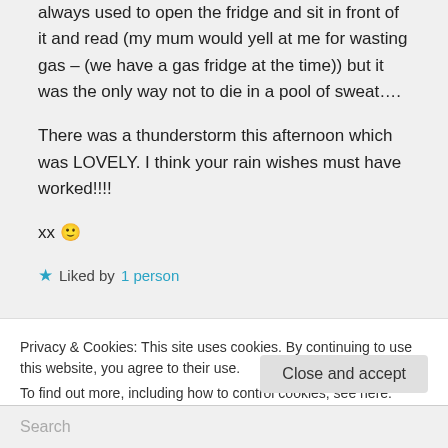always used to open the fridge and sit in front of it and read (my mum would yell at me for wasting gas – (we have a gas fridge at the time)) but it was the only way not to die in a pool of sweat….

There was a thunderstorm this afternoon which was LOVELY. I think your rain wishes must have worked!!!!
xx 🙂
★ Liked by 1 person
Privacy & Cookies: This site uses cookies. By continuing to use this website, you agree to their use.
To find out more, including how to control cookies, see here: Cookie Policy
Close and accept
Search